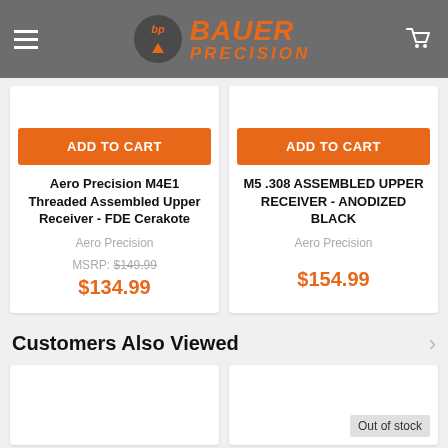Bauer Precision
[Figure (screenshot): Product card: Aero Precision M4E1 Threaded Assembled Upper Receiver - FDE Cerakote, Aero Precision, MSRP: $149.99, $134.99]
[Figure (screenshot): Product card: M5 .308 ASSEMBLED UPPER RECEIVER - ANODIZED BLACK, Aero Precision, $154.99]
Customers Also Viewed
[Figure (screenshot): Bottom product card left - empty image area]
[Figure (screenshot): Bottom product card right - Out of stock]